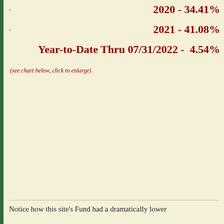2020 - 34.41%
2021 - 41.08%
Year-to-Date Thru 07/31/2022 -  4.54%
(see chart below, click to enlarge)
Notice how this site's Fund had a dramatically lower